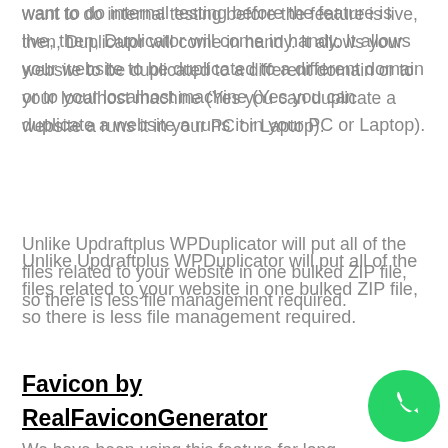want to do internal testing before the feature is live, then, Duplicator will come in handy. It allows your website to be duplicated to a different domain or to your localhost machine (Yes you can duplicate a website a runs it in your PC or Laptop).
Unlike Updraftplus WPDuplicator will put all of the files related to your website in one bulked ZIP file, so there is less file management required.
Favicon by RealFaviconGenerator
We have been using this feature far long
[Figure (logo): WhatsApp chat button — green circle with white phone handset icon]